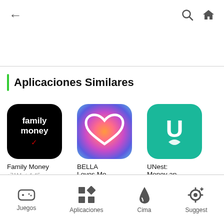[Figure (screenshot): Top navigation bar with back arrow, search icon, and home icon]
Aplicaciones Similares
[Figure (illustration): Family Money app icon - black background with white text 'family money' and red checkmark]
Family Money
↓71M ☆4.45
[Figure (illustration): BELLA Loves Me app icon - colorful gradient with white heart outline]
BELLA Loves Me
↓42.58 MB ☆4.35
[Figure (illustration): UNest Money app icon - green/teal background with white U letter and leaf]
UNest: Money ap...
↓96M ☆4.32
Juegos  Aplicaciones  Cima  Suggest